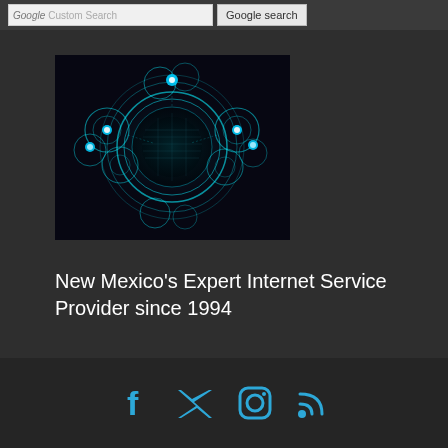Google Custom Search | Google search
[Figure (illustration): Abstract technology digital image showing glowing blue circular network nodes and connections on a dark background]
New Mexico's Expert Internet Service Provider since 1994
Social media icons: Facebook, Twitter, Instagram, RSS